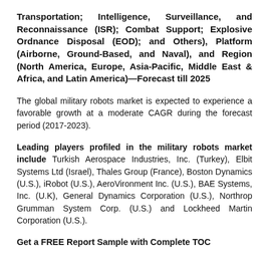Transportation; Intelligence, Surveillance, and Reconnaissance (ISR); Combat Support; Explosive Ordnance Disposal (EOD); and Others), Platform (Airborne, Ground-Based, and Naval), and Region (North America, Europe, Asia-Pacific, Middle East & Africa, and Latin America)—Forecast till 2025
The global military robots market is expected to experience a favorable growth at a moderate CAGR during the forecast period (2017-2023).
Leading players profiled in the military robots market include Turkish Aerospace Industries, Inc. (Turkey), Elbit Systems Ltd (Israel), Thales Group (France), Boston Dynamics (U.S.), iRobot (U.S.), AeroVironment Inc. (U.S.), BAE Systems, Inc. (U.K), General Dynamics Corporation (U.S.), Northrop Grumman System Corp. (U.S.) and Lockheed Martin Corporation (U.S.).
Get a FREE Report Sample with Complete TOC